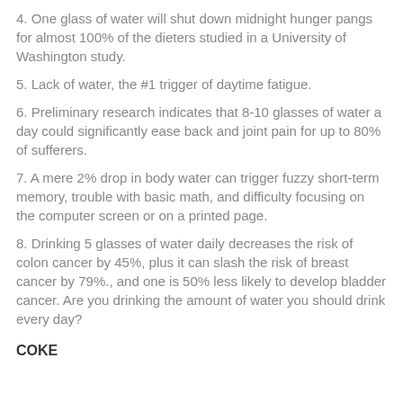4. One glass of water will shut down midnight hunger pangs for almost 100% of the dieters studied in a University of Washington study.
5. Lack of water, the #1 trigger of daytime fatigue.
6. Preliminary research indicates that 8-10 glasses of water a day could significantly ease back and joint pain for up to 80% of sufferers.
7. A mere 2% drop in body water can trigger fuzzy short-term memory, trouble with basic math, and difficulty focusing on the computer screen or on a printed page.
8. Drinking 5 glasses of water daily decreases the risk of colon cancer by 45%, plus it can slash the risk of breast cancer by 79%., and one is 50% less likely to develop bladder cancer. Are you drinking the amount of water you should drink every day?
COKE